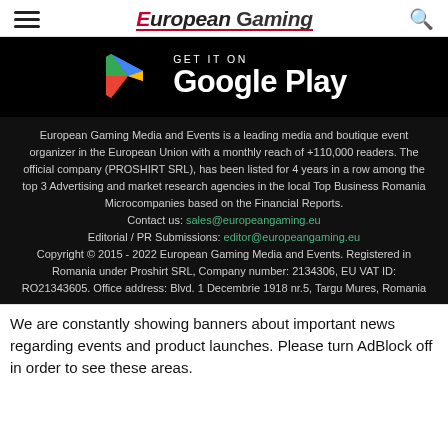European Gaming
[Figure (other): Google Play Store download badge with Google Play logo (colorful triangle play icon) and text 'GET IT ON Google Play' on black background]
European Gaming Media and Events is a leading media and boutique event organizer in the European Union with a monthly reach of +110,000 readers. The official company (PROSHIRT SRL), has been listed for 4 years in a row among the top 3 Advertising and market research agencies in the local Top Business Romania Microcompanies based on the Financial Reports.
Contact us: sales@europeangaming.eu
Editorial / PR Submissions: editor@europeangaming.eu
Copyright © 2015 - 2022 European Gaming Media and Events. Registered in Romania under Proshirt SRL, Company number: 2134306, EU VAT ID: RO21343605. Office address: Blvd. 1 Decembrie 1918 nr.5, Targu Mures, Romania
We are constantly showing banners about important news regarding events and product launches. Please turn AdBlock off in order to see these areas.